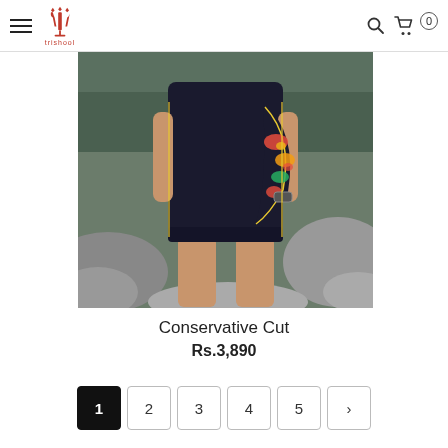Trishool navigation header with hamburger menu, logo, search and cart icons
[Figure (photo): Woman wearing a black conservative cut one-piece swimsuit with floral side panel, standing on rocks outdoors]
Conservative Cut
Rs.3,890
Pagination: 1 2 3 4 5 >